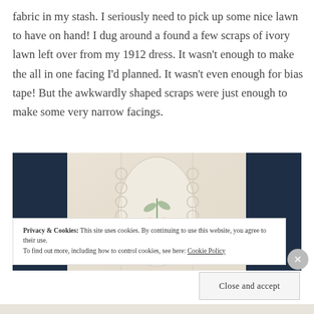fabric in my stash. I seriously need to pick up some nice lawn to have on hand! I dug around a found a few scraps of ivory lawn left over from my 1912 dress. It wasn't enough to make the all in one facing I'd planned. It wasn't even enough for bias tape! But the awkwardly shaped scraps were just enough to make some very narrow facings.
[Figure (photo): Close-up photo of embroidered ivory/white fabric with floral embroidery, laid on a dark blue background.]
Privacy & Cookies: This site uses cookies. By continuing to use this website, you agree to their use.
To find out more, including how to control cookies, see here: Cookie Policy